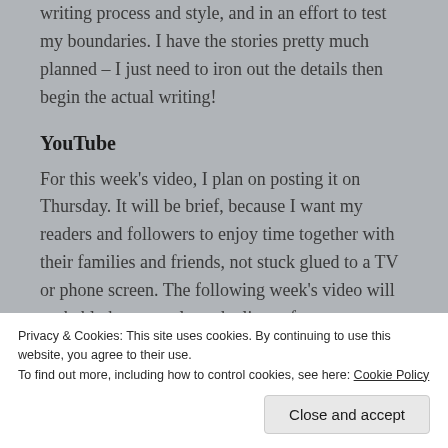writing process and style, and in an effort to test my boundaries. I have the stories pretty much planned – I just need to iron out the details then begin the actual writing!
YouTube
For this week's video, I plan on posting it on Thursday. It will be brief, because I want my readers and followers to enjoy time together with their families and friends, not stuck glued to a TV or phone screen. The following week's video will probably be more along the lines of a
Privacy & Cookies: This site uses cookies. By continuing to use this website, you agree to their use.
To find out more, including how to control cookies, see here: Cookie Policy
Close and accept